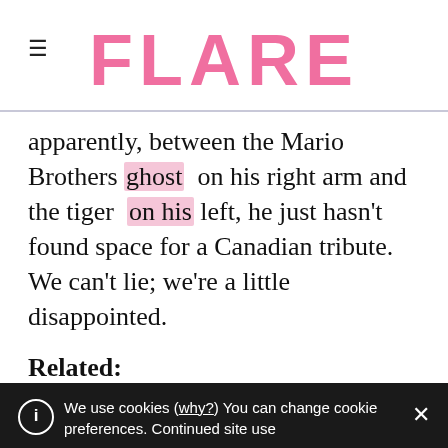FLARE
apparently, between the Mario Brothers ghost on his right arm and the tiger on his left, he just hasn't found space for a Canadian tribute. We can't lie; we're a little disappointed.
Related:
Book Smart: Dreaming Up 5 CanCon Film Adaptations
10 Reasons I Moved Back to Canada That
We use cookies (why?) You can change cookie preferences. Continued site use